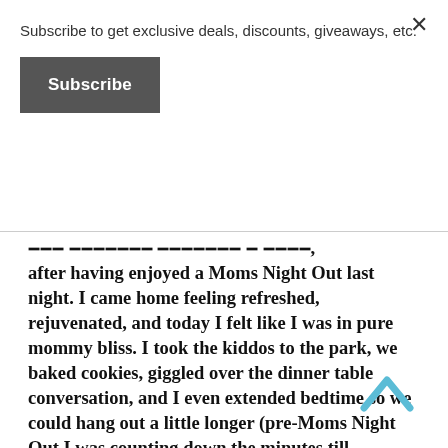Subscribe to get exclusive deals, discounts, giveaways, etc.
Subscribe
...I am thinking this mindset today after having enjoyed a Moms Night Out last night. I came home feeling refreshed, rejuvenated, and today I felt like I was in pure mommy bliss. I took the kiddos to the park, we baked cookies, giggled over the dinner table conversation, and I even extended bedtime so we could hang out a little longer (pre-Moms Night Out I was counting down the minutes till bedtime). Just as Date Night is vital to your relationship Moms Night Out is vital in order to be a great mom!
When was the last time you had a Moms Night Out?